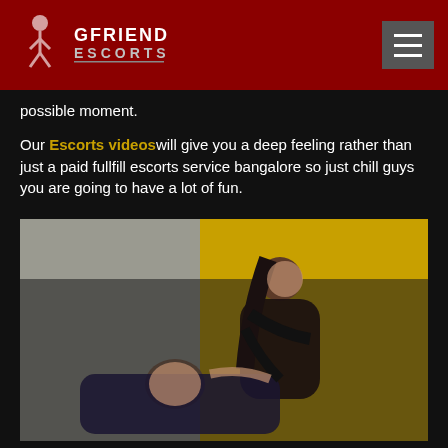GFRIEND ESCORTS
possible moment.
Our Escorts videos will give you a deep feeling rather than just a paid fullfill escorts service bangalore so just chill guys you are going to have a lot of fun.
[Figure (photo): Two people in an intimate embrace, a woman in black clothing leaning over a man in a suit lying down, against a yellow and grey background.]